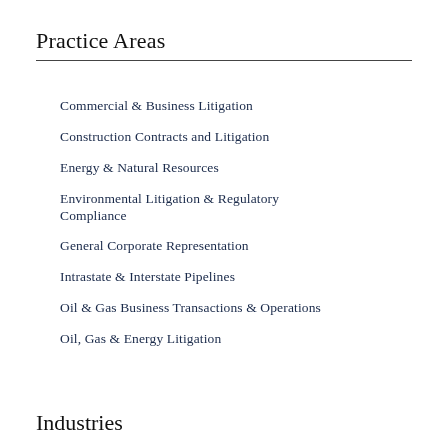Practice Areas
Commercial & Business Litigation
Construction Contracts and Litigation
Energy & Natural Resources
Environmental Litigation & Regulatory Compliance
General Corporate Representation
Intrastate & Interstate Pipelines
Oil & Gas Business Transactions & Operations
Oil, Gas & Energy Litigation
Industries